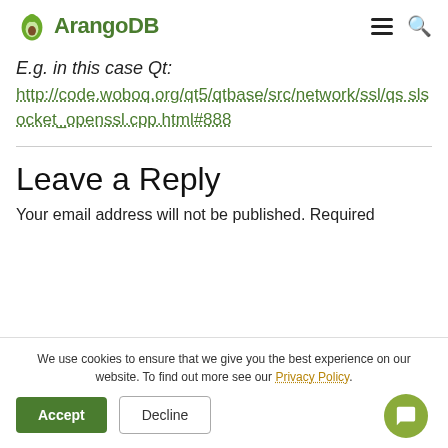ArangoDB
E.g. in this case Qt:
http://code.woboq.org/qt5/qtbase/src/network/ssl/qsslsocket_openssl.cpp.html#888
Leave a Reply
Your email address will not be published. Required
We use cookies to ensure that we give you the best experience on our website. To find out more see our Privacy Policy.